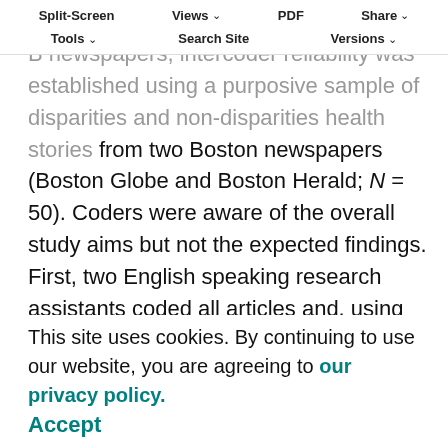Split-Screen | Views | PDF | Share | Tools | Search Site | Versions
Prior to reviewing the four City A and City B newspapers, intercoder reliability was established using a purposive sample of disparities and non-disparities health stories from two Boston newspapers (Boston Globe and Boston Herald; N = 50). Coders were aware of the overall study aims but not the expected findings. First, two English speaking research assistants coded all articles and, using the first instrument, determined whether the stories included disparities/SDH content. The coders were highly reliable in this assessment (κ = 0.80). Next, coders reread the disparities stories they had identified, and, using the second instrument, coded story content. The mean κ for all reliability variables and solution explanations for disparities variables, κs were
This site uses cookies. By continuing to use our website, you are agreeing to our privacy policy. Accept